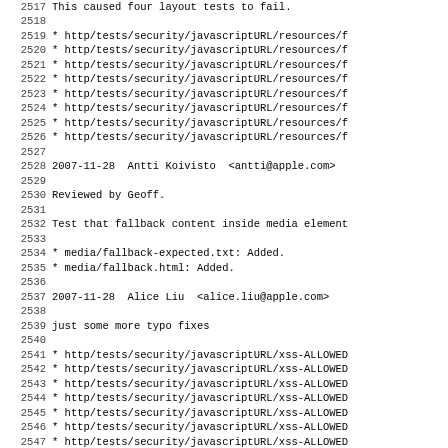2517    This caused four layout tests to fail.
2518
2519        * http/tests/security/javascriptURL/resources/f
2520        * http/tests/security/javascriptURL/resources/f
2521        * http/tests/security/javascriptURL/resources/f
2522        * http/tests/security/javascriptURL/resources/f
2523        * http/tests/security/javascriptURL/resources/f
2524        * http/tests/security/javascriptURL/resources/f
2525        * http/tests/security/javascriptURL/resources/f
2526        * http/tests/security/javascriptURL/resources/f
2527
2528 2007-11-28  Antti Koivisto  <antti@apple.com>
2529
2530        Reviewed by Geoff.
2531
2532        Test that fallback content inside media element
2533
2534        * media/fallback-expected.txt: Added.
2535        * media/fallback.html: Added.
2536
2537 2007-11-28  Alice Liu  <alice.liu@apple.com>
2538
2539        just some more typo fixes
2540
2541        * http/tests/security/javascriptURL/xss-ALLOWED
2542        * http/tests/security/javascriptURL/xss-ALLOWED
2543        * http/tests/security/javascriptURL/xss-ALLOWED
2544        * http/tests/security/javascriptURL/xss-ALLOWED
2545        * http/tests/security/javascriptURL/xss-ALLOWED
2546        * http/tests/security/javascriptURL/xss-ALLOWED
2547        * http/tests/security/javascriptURL/xss-ALLOWED
2548        * http/tests/security/javascriptURL/xss-ALLOWED
2549        * http/tests/security/javascriptURL/xss-CENTER